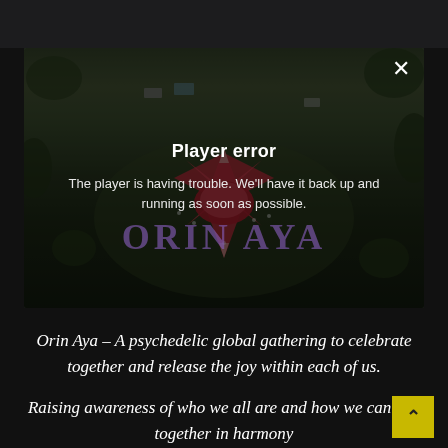[Figure (screenshot): A video player showing an aerial view of a festival (Orin Aya) with a colorful mandala/star structure on the ground, surrounded by trees and grass. The player displays a 'Player error' message overlay with an X close button in the top-right corner.]
Player error
The player is having trouble. We'll have it back up and running as soon as possible.
Orin Aya – A psychedelic global gathering to celebrate together and release the joy within each of us.
Raising awareness of who we all are and how we can live together in harmony